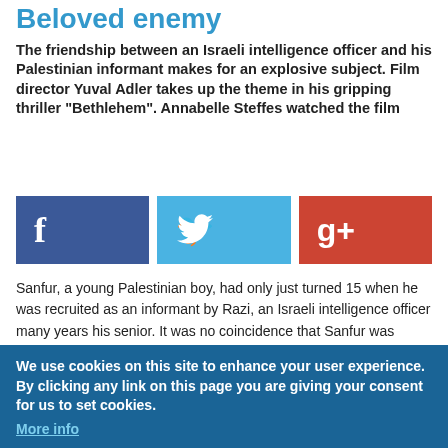Beloved enemy
The friendship between an Israeli intelligence officer and his Palestinian informant makes for an explosive subject. Film director Yuval Adler takes up the theme in his gripping thriller "Bethlehem". Annabelle Steffes watched the film
[Figure (infographic): Social media share buttons: Facebook (blue), Twitter (light blue), Google+ (red)]
Sanfur, a young Palestinian boy, had only just turned 15 when he was recruited as an informant by Razi, an Israeli intelligence officer many years his senior. It was no coincidence that Sanfur was chosen, his brother being a fugitive Palestinian underground fighter, who Razi is supposed to track down and kill. Over the course of more than two years, a close friendship develops between Sanfur and Razi.
Sanfur, who has stood in the shadow of his older brother all his life, finds a father figure in Razi. For his part, the intelligence officer returns Sanfur's affection, while at the same time exploiting the youth to his own ends. The boy desperately attempts to meet the demands of the agent and at the same time remain loyal to his brother. The boundaries become
We use cookies on this site to enhance your user experience. By clicking any link on this page you are giving your consent for us to set cookies. More info